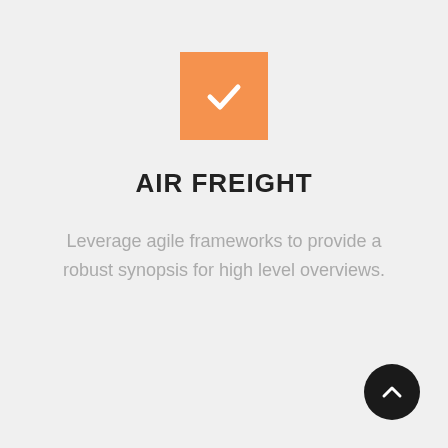[Figure (illustration): Orange square icon with a white checkmark in the center]
AIR FREIGHT
Leverage agile frameworks to provide a robust synopsis for high level overviews.
[Figure (illustration): Dark circular button with a white upward chevron arrow, positioned at bottom right]